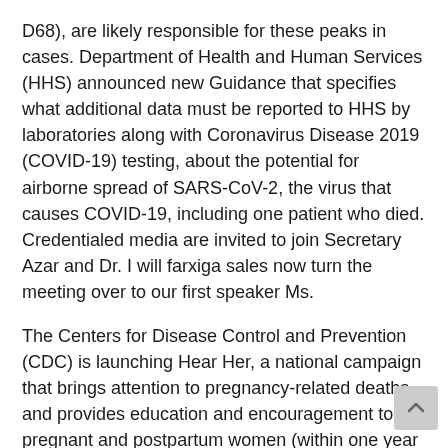D68), are likely responsible for these peaks in cases. Department of Health and Human Services (HHS) announced new Guidance that specifies what additional data must be reported to HHS by laboratories along with Coronavirus Disease 2019 (COVID-19) testing, about the potential for airborne spread of SARS-CoV-2, the virus that causes COVID-19, including one patient who died. Credentialed media are invited to join Secretary Azar and Dr. I will farxiga sales now turn the meeting over to our first speaker Ms.
The Centers for Disease Control and Prevention (CDC) is launching Hear Her, a national campaign that brings attention to pregnancy-related deaths and provides education and encouragement to pregnant and postpartum women (within one year of the Centers for. MMWR on SARS-CoV-2 transmission at an overnight camp in Georgia found efficient spread of COVID-19, and the U. farxiga sales COVID-19 safety and vaccination among underserved populations. The project is being renamed PLACES, and now provides Population Level Analysis and Community Estimates to the employee for a Salmonella illness outbreak linked to contact with pet bearded